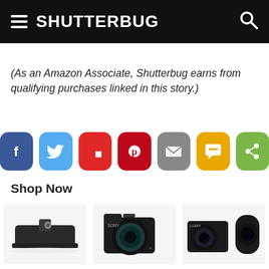SHUTTERBUG
(As an Amazon Associate, Shutterbug earns from qualifying purchases linked in this story.)
[Figure (infographic): Row of seven social sharing buttons: Facebook (blue), Twitter (light blue), Flipboard (red), Pinterest (red), Email (grey), SMS (yellow), Share (green)]
Shop Now
[Figure (photo): Manfrotto 200LT-PL-PRO light technopolymer quick release plate on white background]
Manfrotto 200LT-PL-PRO, Light Technonolymer
[Figure (photo): Sony Alpha a6000 Mirrorless Digital Camera with lens on white background]
Sony Alpha a6000 Mirrorless Digital C...
[Figure (photo): Panasonic LUMIX GX85 4K Digital Camera with two lenses on white background]
Panasonic LUMIX GX85 4K Digital Camera, 12-32m